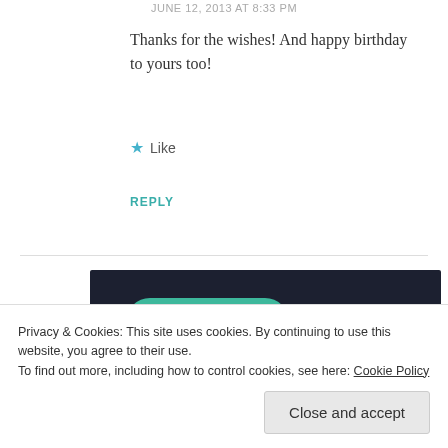JUNE 12, 2013 AT 8:33 PM
Thanks for the wishes! And happy birthday to yours too!
★ Like
REPLY
[Figure (screenshot): Dark banner advertisement with a teal 'Learn More' rounded button and a 'sensei' logo/icon in the bottom right]
Privacy & Cookies: This site uses cookies. By continuing to use this website, you agree to their use.
To find out more, including how to control cookies, see here: Cookie Policy
Close and accept